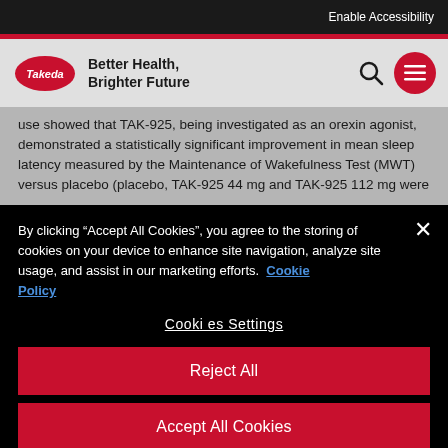Enable Accessibility
[Figure (logo): Takeda logo with tagline: Better Health, Brighter Future]
use showed that TAK-925, being investigated as an orexin agonist, demonstrated a statistically significant improvement in mean sleep latency measured by the Maintenance of Wakefulness Test (MWT) versus placebo (placebo, TAK-925 44 mg and TAK-925 112 mg were
By clicking “Accept All Cookies”, you agree to the storing of cookies on your device to enhance site navigation, analyze site usage, and assist in our marketing efforts. Cookie Policy
Cookies Settings
Reject All
Accept All Cookies